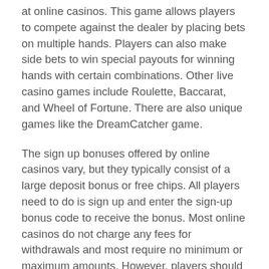at online casinos. This game allows players to compete against the dealer by placing bets on multiple hands. Players can also make side bets to win special payouts for winning hands with certain combinations. Other live casino games include Roulette, Baccarat, and Wheel of Fortune. There are also unique games like the DreamCatcher game.
The sign up bonuses offered by online casinos vary, but they typically consist of a large deposit bonus or free chips. All players need to do is sign up and enter the sign-up bonus code to receive the bonus. Most online casinos do not charge any fees for withdrawals and most require no minimum or maximum amounts. However, players should note that sign-up bonuses cannot be withdrawn as cash.
If you are looking for a live dealer casino with a high payout rate, Ignition Casino is the right choice for you. This casino has several live dealer games and features more than a dozen different sports. It also has more than a dozen video poker